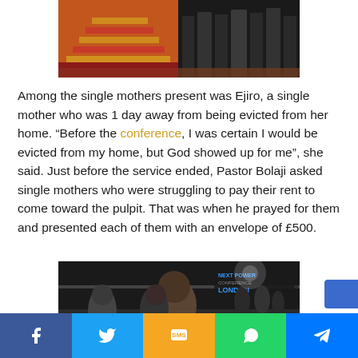[Figure (photo): Photo of a church interior with red carpet steps on the left, and people standing in formal/graduation attire on the right]
Among the single mothers present was Ejiro, a single mother who was 1 day away from being evicted from her home. “Before the conference, I was certain I would be evicted from my home, but God showed up for me”, she said. Just before the service ended, Pastor Bolaji asked single mothers who were struggling to pay their rent to come toward the pulpit. That was when he prayed for them and presented each of them with an envelope of £500.
[Figure (photo): Photo of a man and woman posing together, with a banner reading 'NEXT POWER CONFERENCE LONDON' visible in the background]
Facebook | Twitter | SMS | WhatsApp | Messenger